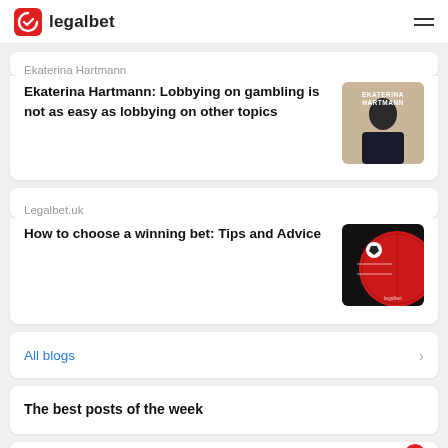legalbet
Ekaterina Hartmann
Ekaterina Hartmann: Lobbying on gambling is not as easy as lobbying on other topics
Legalbet.uk
How to choose a winning bet: Tips and Advice
All blogs
The best posts of the week